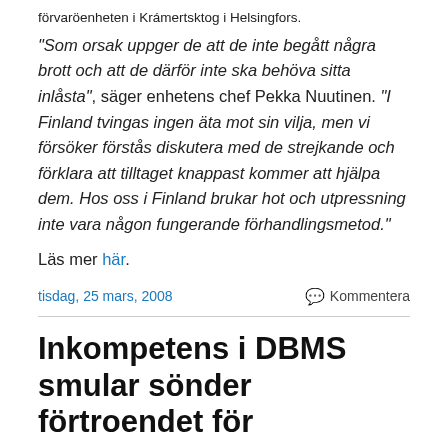förvaröenheten i Krámertsktog i Helsingfors.
"Som orsak uppger de att de inte begått några brott och att de därför inte ska behöva sitta inlåsta", säger enhetens chef Pekka Nuutinen. "I Finland tvingas ingen äta mot sin vilja, men vi försöker förstås diskutera med de strejkande och förklara att tilltaget knappast kommer att hjälpa dem. Hos oss i Finland brukar hot och utpressning inte vara någon fungerande förhandlingsmetod."
Läs mer här.
tisdag, 25 mars, 2008   Kommentera
Inkompetens i DBMS smular sönder förtroendet för